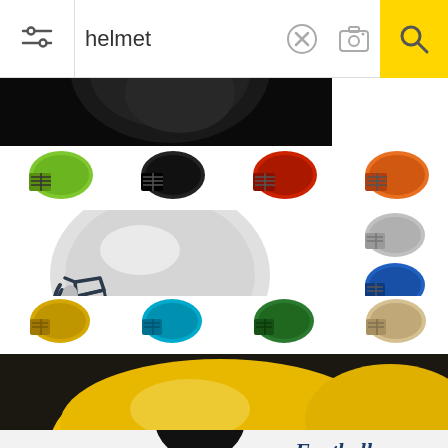[Figure (screenshot): Mobile image search results for 'helmet' showing search bar with filter, close, camera and search icons, followed by a grid of helmet images: partial dark motorcycle helmet at top, 4 small football helmets in various colors (green, black, red, orange), large white American football helmet on left with 2 smaller helmets (silver, blue) on right, 4 small helmets (gold, teal, green, tan), a photo of a yellow construction hard hat with safety gloves, and a partially visible football player illustration with 'Football vector illustration EPS 10' text]